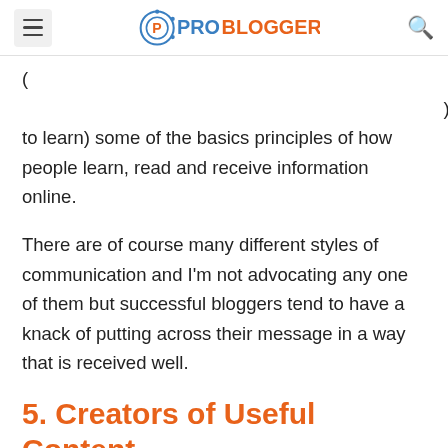PROBLOGGER
( ... to learn) some of the basics principles of how people learn, read and receive information online.
There are of course many different styles of communication and I'm not advocating any one of them but successful bloggers tend to have a knack of putting across their message in a way that is received well.
5. Creators of Useful Content
(partial text continues below)